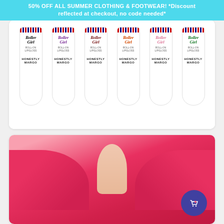50% OFF ALL SUMMER CLOTHING & FOOTWEAR! *Discount reflected at checkout, no code needed*
[Figure (photo): Six Roller Girl by Honestly Margo roll-on lipgloss bottles in different colors (black, purple, dark red/brown, orange, pink, green) arranged side by side, with clear glass cylindrical bodies showing 'Roller Girl' logo in respective colors and 'HONESTLY MARGO' text below]
Honestly Margot →
[Figure (photo): Bottom portion of image showing a person wearing a bright pink/hot pink collared top or jacket, with a circular purple shopping cart button with heart icon overlaid in the bottom right corner]